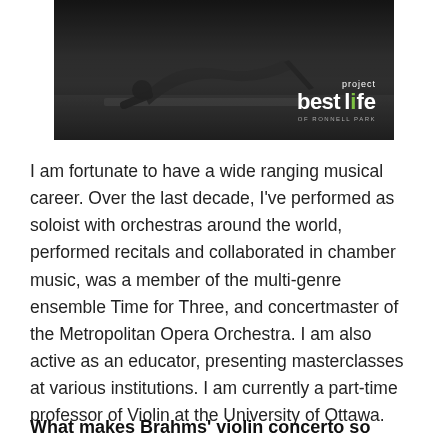[Figure (photo): A dark monochrome photo of a person in a yoga/stretching pose on a mat, with a 'project best life' logo overlay in the bottom right corner.]
I am fortunate to have a wide ranging musical career. Over the last decade, I've performed as soloist with orchestras around the world, performed recitals and collaborated in chamber music, was a member of the multi-genre ensemble Time for Three, and concertmaster of the Metropolitan Opera Orchestra. I am also active as an educator, presenting masterclasses at various institutions. I am currently a part-time professor of Violin at the University of Ottawa.
What makes Brahms' violin concerto so